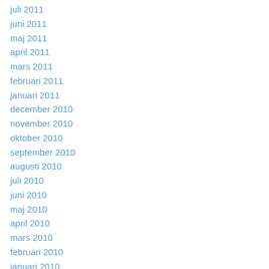juli 2011
juni 2011
maj 2011
april 2011
mars 2011
februari 2011
januari 2011
december 2010
november 2010
oktober 2010
september 2010
augusti 2010
juli 2010
juni 2010
maj 2010
april 2010
mars 2010
februari 2010
januari 2010
december 2009